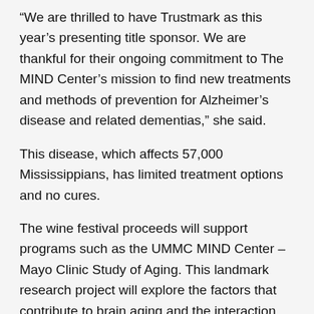“We are thrilled to have Trustmark as this year’s presenting title sponsor. We are thankful for their ongoing commitment to The MIND Center’s mission to find new treatments and methods of prevention for Alzheimer’s disease and related dementias,” she said.
This disease, which affects 57,000 Mississippians, has limited treatment options and no cures.
The wine festival proceeds will support programs such as the UMMC MIND Center – Mayo Clinic Study of Aging. This landmark research project will explore the factors that contribute to brain aging and the interaction between brain and physical function, such as gait and balance. The goal is to learn how to protect those abilities as we age and identify better methods to diagnose and prevent